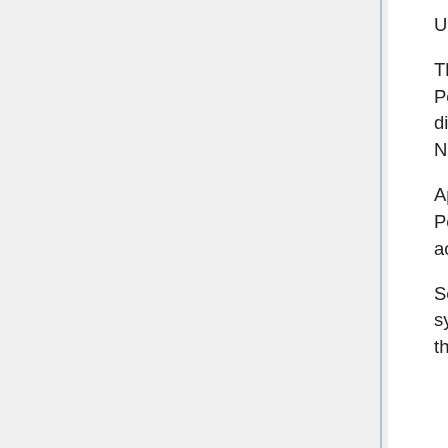Upon Installation the app will prompt to setup using ISY Portal. Select Yes.
The app will prompt for ISY Portal login. Select Yes. If app prompts for Portal credentials enter your credentials and save. App may also show a dialog with existing Portal accounts. If this is initial installation select Add New Portal Account.
App will then show a list of ISYs on your portal account or a list of ISY Portal accounts. If a list of Portal Accounts is presented select the Portal account which contains the desired ISY. Select the desired ISY.
Select SAVE at the top right. Then select YES when prompted to synchronize. Wait for synchronization to complete. After synchronization the app will be